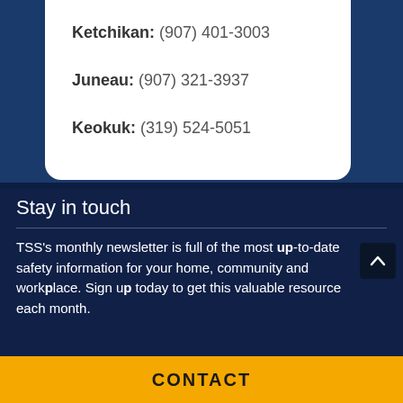Ketchikan: (907) 401-3003
Juneau: (907) 321-3937
Keokuk: (319) 524-5051
Stay in touch
TSS's monthly newsletter is full of the most up-to-date safety information for your home, community and workplace. Sign up today to get this valuable resource each month.
CONTACT